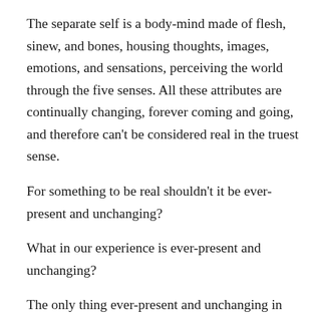The separate self is a body-mind made of flesh, sinew, and bones, housing thoughts, images, emotions, and sensations, perceiving the world through the five senses. All these attributes are continually changing, forever coming and going, and therefore can't be considered real in the truest sense.
For something to be real shouldn't it be ever-present and unchanging?
What in our experience is ever-present and unchanging?
The only thing ever-present and unchanging in our experience is awareness, that which knows experience but is itself not an experience.